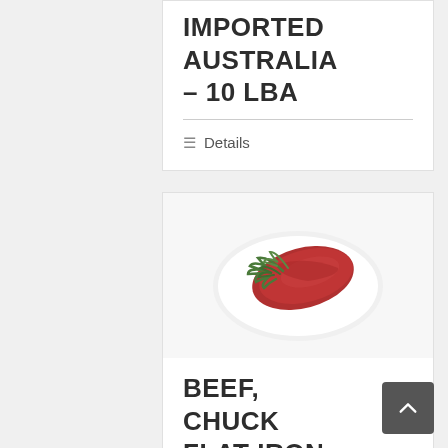IMPORTED AUSTRALIA – 10 LBA
Details
[Figure (photo): Photo of a beef cut (chuck flat iron) on a white surface with green herb garnish]
BEEF, CHUCK FLAT IRON AKAUSHI 114D